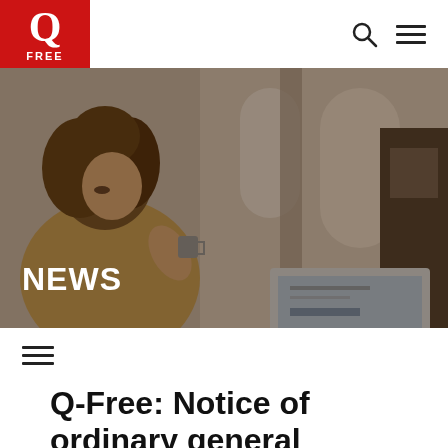Q-Free logo, search icon, menu icon
[Figure (photo): Woman with curly hair sitting, working on a laptop, holding a coffee cup, in a bright room with arched windows. Dark overlay with NEWS text overlaid in white.]
Q-Free: Notice of ordinary general